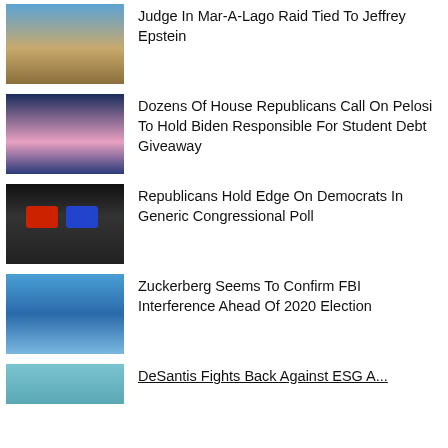[Figure (photo): Photo of Mar-A-Lago building with blue sky]
Judge In Mar-A-Lago Raid Tied To Jeffrey Epstein
[Figure (photo): Photo of Nancy Pelosi speaking at a podium]
Dozens Of House Republicans Call On Pelosi To Hold Biden Responsible For Student Debt Giveaway
[Figure (photo): Photo of hands holding red and blue cards]
Republicans Hold Edge On Democrats In Generic Congressional Poll
[Figure (photo): Photo of Mark Zuckerberg]
Zuckerberg Seems To Confirm FBI Interference Ahead Of 2020 Election
[Figure (photo): Partial photo of a building or landscape]
DeSantis Fights Back Against ESG And...